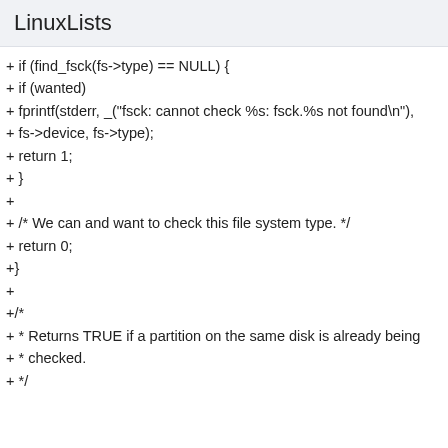LinuxLists
+ if (find_fsck(fs->type) == NULL) {
+ if (wanted)
+ fprintf(stderr, _("fsck: cannot check %s: fsck.%s not found\n"),
+ fs->device, fs->type);
+ return 1;
+ }
+
+ /* We can and want to check this file system type. */
+ return 0;
+}
+
+/*
+ * Returns TRUE if a partition on the same disk is already being
+ * checked.
+ */